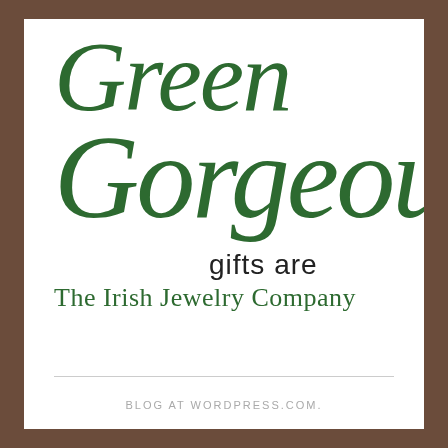Green gifts are Gorgeous
The Irish Jewelry Company
BLOG AT WORDPRESS.COM.